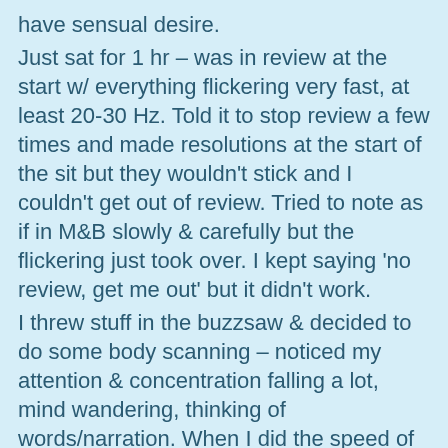have sensual desire.
Just sat for 1 hr – was in review at the start w/ everything flickering very fast, at least 20-30 Hz. Told it to stop review a few times and made resolutions at the start of the sit but they wouldn't stick and I couldn't get out of review. Tried to note as if in M&B slowly & carefully but the flickering just took over. I kept saying 'no review, get me out' but it didn't work.
I threw stuff in the buzzsaw & decided to do some body scanning – noticed my attention & concentration falling a lot, mind wandering, thinking of words/narration. When I did the speed of the flickering would slow down and I'd notice and reconcentrate and the speed would increase.
Finally at the end of the hour I again